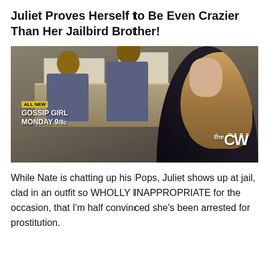Juliet Proves Herself to Be Even Crazier Than Her Jailbird Brother!
[Figure (screenshot): A screenshot from Gossip Girl TV show on The CW network. Scene set in a prison/jail with two officers in grey-blue uniforms — one seated at a desk, one standing behind. A blonde young woman (Juliet) stands to the right wearing dark clothing. Bottom-left shows a yellow 'ALL NEW' banner, 'GOSSIP GIRL MONDAY 9/8c' text in white. The CW logo appears bottom-right.]
While Nate is chatting up his Pops, Juliet shows up at jail, clad in an outfit so WHOLLY INAPPROPRIATE for the occasion, that I'm half convinced she's been arrested for prostitution.